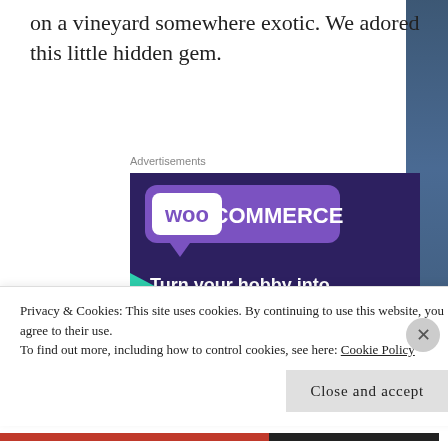on a vineyard somewhere exotic. We adored this little hidden gem.
Advertisements
[Figure (illustration): WooCommerce advertisement banner with dark purple background, green triangle shape, teal circle, WooCommerce logo in purple speech bubble, text reading 'Turn your hobby into a business in 8 steps', and a white 'Start a new store' button.]
Privacy & Cookies: This site uses cookies. By continuing to use this website, you agree to their use.
To find out more, including how to control cookies, see here: Cookie Policy
Close and accept